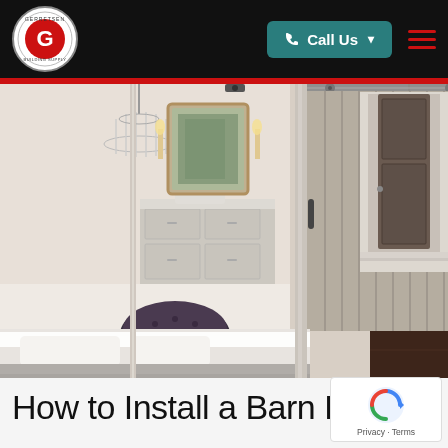[Figure (logo): Gerretsen Building Supply circular logo with red G letter on white background]
[Figure (screenshot): Navigation bar with Gerretsen Building Supply logo on left, teal Call Us button in center-right, and red hamburger menu on right, on black background]
[Figure (photo): Interior bedroom/bathroom scene with gray sliding barn door on metal track, chandelier, vanity mirror, tufted ottoman, and elegant decor]
How to Install a Barn Do